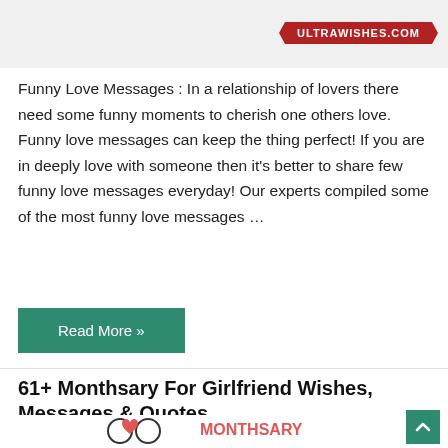[Figure (illustration): Top partial image showing ultrawishes.com banner ribbon in red with white text on a light background]
Funny Love Messages : In a relationship of lovers there need some funny moments to cherish one others love. Funny love messages can keep the thing perfect! If you are in deeply love with someone then it's better to share few funny love messages everyday! Our experts compiled some of the most funny love messages …
Read More »
61+ Monthsary For Girlfriend Wishes, Messages & Quotes
Girlfriend, Message, Monthsary, Quotes, Wishes
[Figure (illustration): Couple illustration with two faces close together, a red heart above, cartoon line art style. Text on the right reads MONTHSARY FOR in red bold letters. Teal scroll-to-top button in bottom right corner.]